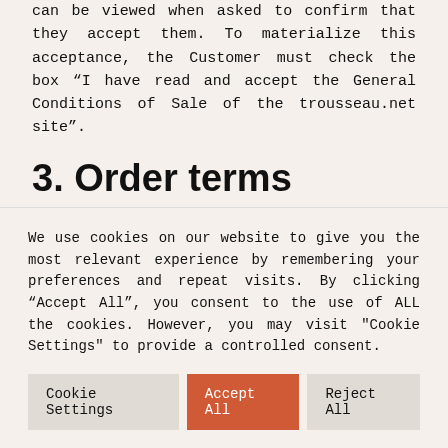can be viewed when asked to confirm that they accept them. To materialize this acceptance, the Customer must check the box “I have read and accept the General Conditions of Sale of the trousseau.net site”.
3. Order terms
Any order placed on the Site implies express acceptance of the GTC and implies acceptance of the prices and Products available for sale
We use cookies on our website to give you the most relevant experience by remembering your preferences and repeat visits. By clicking “Accept All”, you consent to the use of ALL the cookies. However, you may visit "Cookie Settings" to provide a controlled consent.
Cookie Settings | Accept All | Reject All